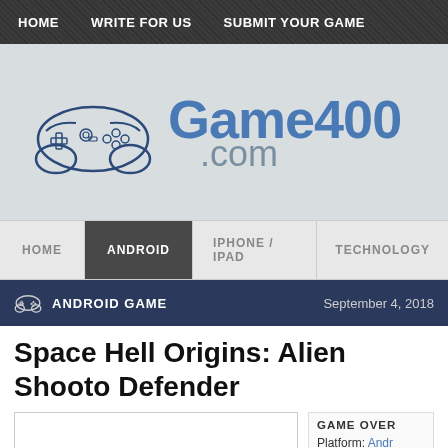HOME   WRITE FOR US   SUBMIT YOUR GAME
[Figure (logo): Game400.com logo with game controller icon and blue text]
HOME   ANDROID   IPHONE / IPAD   TECHNOLOGY
ANDROID GAME   September 4, 2018
Space Hell Origins: Alien Shooter Defender
GAME OVERVIEW  Platform: Android